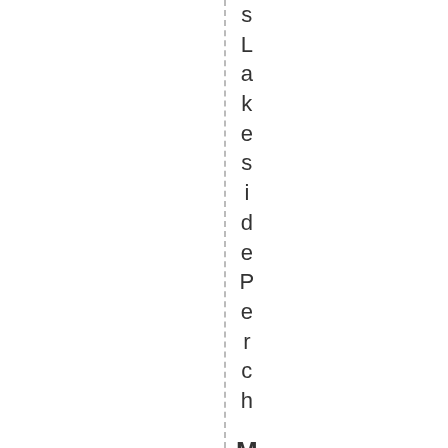sLakesidePerch Manyorporate .n